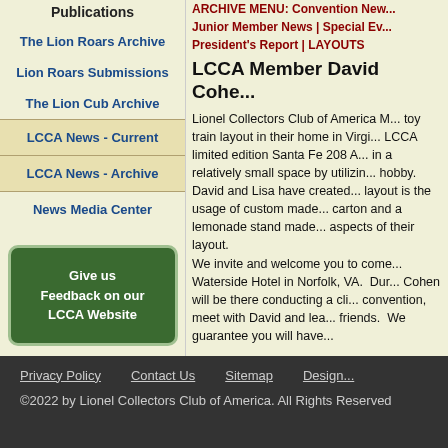Publications
The Lion Roars Archive
Lion Roars Submissions
The Lion Cub Archive
LCCA News - Current
LCCA News - Archive
News Media Center
[Figure (other): Green rounded rectangle button: Give us Feedback on our LCCA Website]
ARCHIVE MENU: Convention Ne... Junior Member News | Special Ev... President's Report | LAYOUTS
LCCA Member David Cohe...
Lionel Collectors Club of America M... toy train layout in their home in Virgi... LCCA limited edition Santa Fe 208 A... in a relatively small space by utilizin... hobby. David and Lisa have created... layout is the usage of custom made... carton and a lemonade stand made... aspects of their layout. We invite and welcome you to come... Waterside Hotel in Norfolk, VA. Dur... Cohen will be there conducting a cli... convention, meet with David and lea... friends. We guarantee you will have...
Privacy Policy   Contact Us   Sitemap   Design...
©2022 by Lionel Collectors Club of America. All Rights Reserved